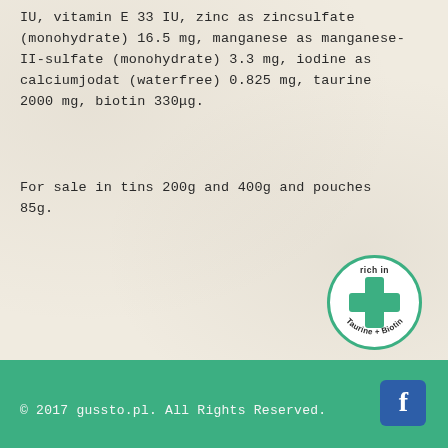IU, vitamin E 33 IU, zinc as zincsulfate (monohydrate) 16.5 mg, manganese as manganese-II-sulfate (monohydrate) 3.3 mg, iodine as calciumjodat (waterfree) 0.825 mg, taurine 2000 mg, biotin 330μg.
For sale in tins 200g and 400g and pouches 85g.
[Figure (logo): Circular badge with green border, green plus/cross symbol in center, text 'rich in' at top and 'Taurine + Biotin' curved around the bottom]
© 2017 gussto.pl. All Rights Reserved.